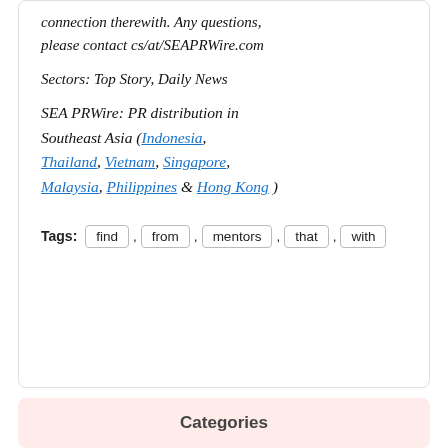connection therewith. Any questions, please contact cs/at/SEAPRWire.com
Sectors: Top Story, Daily News
SEA PRWire: PR distribution in Southeast Asia (Indonesia, Thailand, Vietnam, Singapore, Malaysia, Philippines & Hong Kong )
Tags: find , from , mentors , that , with
Categories